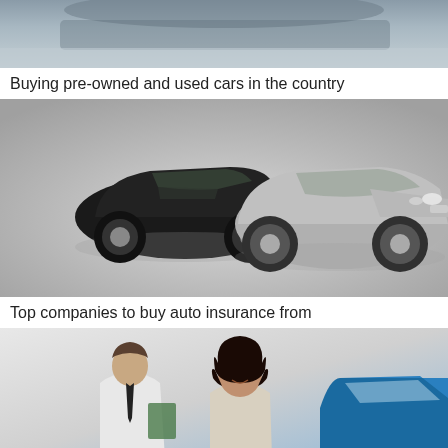[Figure (photo): Partial cropped photo of a car from above, blue/grey tones, top portion only visible]
Buying pre-owned and used cars in the country
[Figure (photo): Two sports cars on grey background - a black sports car on the left and a silver/grey sports car on the right, showroom style photo]
Top companies to buy auto insurance from
[Figure (photo): A man in a white shirt and dark tie holding a clipboard speaking with a woman with dark curly hair smiling, with a blue car visible in the background, inside a car dealership]